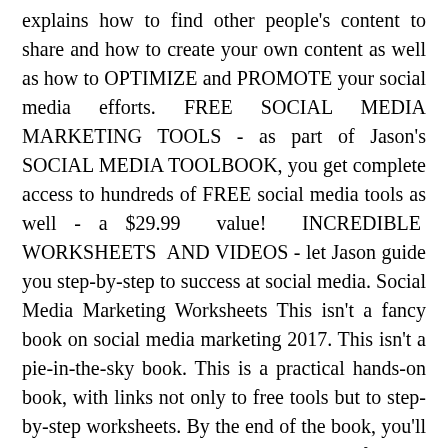explains how to find other people's content to share and how to create your own content as well as how to OPTIMIZE and PROMOTE your social media efforts. FREE SOCIAL MEDIA MARKETING TOOLS - as part of Jason's SOCIAL MEDIA TOOLBOOK, you get complete access to hundreds of FREE social media tools as well - a $29.99 value! INCREDIBLE WORKSHEETS AND VIDEOS - let Jason guide you step-by-step to success at social media. Social Media Marketing Worksheets This isn't a fancy book on social media marketing 2017. This isn't a pie-in-the-sky book. This is a practical hands-on book, with links not only to free tools but to step-by-step worksheets. By the end of the book, you'll have a social media marketing plan ready for your business AND specific plans for each medium that makes sense for you (e.g., Facebook, Yelp, Twitter, etc.). Got questions? Just Google Jason McDonald and send him an email - he's happy to help. Compare with: Social Media for Dummies, Social Media Marketing in a Day, Social Media Marketing for Dummies, The Art of Social Media (Guy